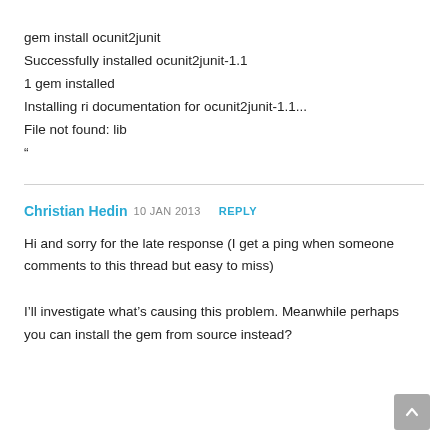gem install ocunit2junit
Successfully installed ocunit2junit-1.1
1 gem installed
Installing ri documentation for ocunit2junit-1.1...
File not found: lib
“
Christian Hedin  10 JAN 2013  REPLY
Hi and sorry for the late response (I get a ping when someone comments to this thread but easy to miss)
I’ll investigate what’s causing this problem. Meanwhile perhaps you can install the gem from source instead?